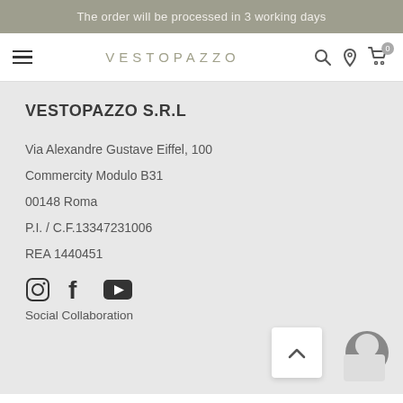The order will be processed in 3 working days
VESTOPAZZO
VESTOPAZZO S.R.L
Via Alexandre Gustave Eiffel, 100
Commercity Modulo B31
00148 Roma
P.I. / C.F.13347231006
REA 1440451
[Figure (other): Social media icons: Instagram, Facebook, YouTube]
Social Collaboration